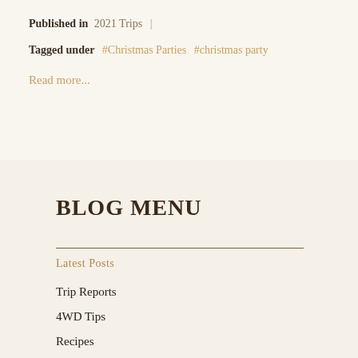Published in  2021 Trips  |
Tagged under  #Christmas Parties  #christmas party
Read more...
BLOG MENU
Latest Posts
Trip Reports
4WD Tips
Recipes
Books